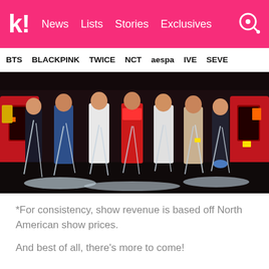k! News  Lists  Stories  Exclusives
BTS  BLACKPINK  TWICE  NCT  aespa  IVE  SEVE
[Figure (photo): Group photo of seven male K-pop artists (BTS) posing in an arcade/entertainment venue with streamers/tape hanging from their bodies. Members wear colorful outfits including red, white, blue denim, and beige. Red arcade machines visible in background.]
*For consistency, show revenue is based off North American show prices.
And best of all, there's more to come!